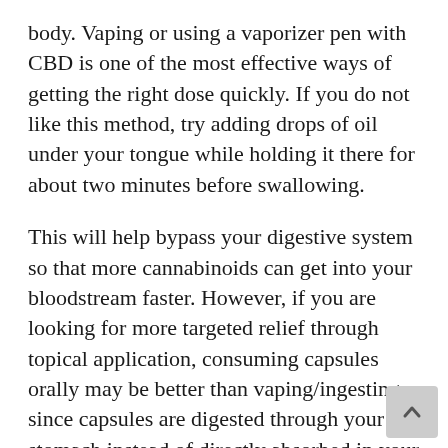body. Vaping or using a vaporizer pen with CBD is one of the most effective ways of getting the right dose quickly. If you do not like this method, try adding drops of oil under your tongue while holding it there for about two minutes before swallowing.
This will help bypass your digestive system so that more cannabinoids can get into your bloodstream faster. However, if you are looking for more targeted relief through topical application, consuming capsules orally may be better than vaping/ingesting, since capsules are digested through your stomach instead of directly absorbed in your lungs and bloodstream.
Finally, keep up with current events surrounding CBD. This can be a following the research that is...